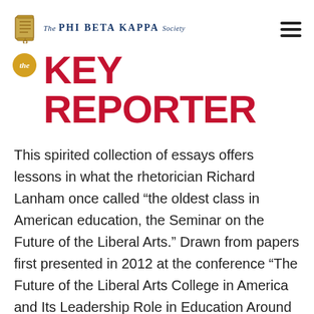The Phi Beta Kappa Society
The KEY REPORTER
This spirited collection of essays offers lessons in what the rhetorician Richard Lanham once called “the oldest class in American education, the Seminar on the Future of the Liberal Arts.” Drawn from papers first presented in 2012 at the conference “The Future of the Liberal Arts College in America and Its Leadership Role in Education Around the